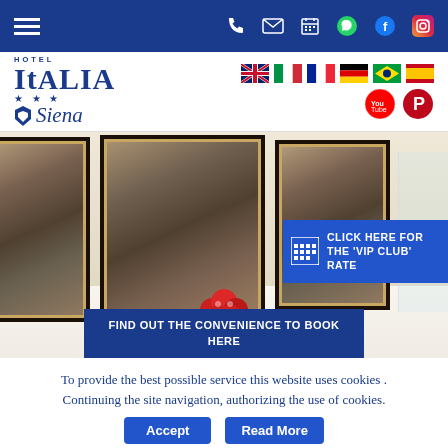[Figure (screenshot): Top navigation bar with hamburger menu and icons (phone, email, calendar, WhatsApp, Facebook, Instagram) on dark blue background]
[Figure (logo): Hotel Italia Siena logo with shield emblem, star rating, and language/social media flags on white header bar]
[Figure (photo): Hotel lobby interior with black and white framed photos on wall, fruit bowl on white counter, and blue VIP Club rate button overlay]
CLICK HERE FOR THE 'VIP CLUB' RATE
FIND OUT THE CONVENIENCE TO BOOK HERE
To provide the best possible service this website uses cookies . Continuing the site navigation, authorizing the use of cookies.
Accept
Read More